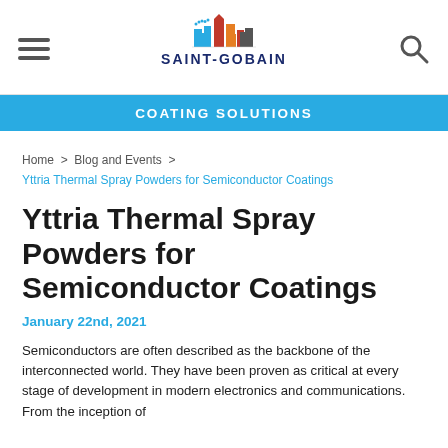[Figure (logo): Saint-Gobain logo with city skyline graphic in red, blue, orange and dark colors, with text SAINT-GOBAIN below]
COATING SOLUTIONS
Home > Blog and Events > Yttria Thermal Spray Powders for Semiconductor Coatings
Yttria Thermal Spray Powders for Semiconductor Coatings
January 22nd, 2021
Semiconductors are often described as the backbone of the interconnected world. They have been proven as critical at every stage of development in modern electronics and communications. From the inception of